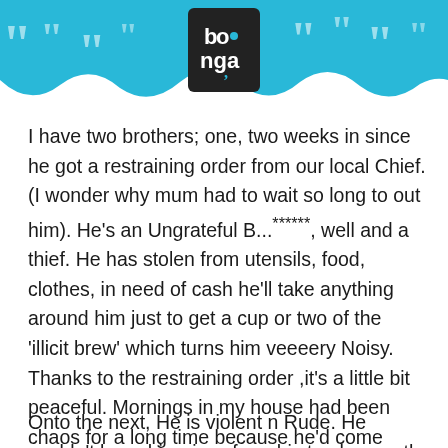[Figure (logo): Bonga logo in dark square with quotation mark decoration on cyan banner header]
I have two brothers; one, two weeks in since he got a restraining order from our local Chief. (I wonder why mum had to wait so long to out him). He's an Ungrateful B...******, well and a thief. He has stolen from utensils, food, clothes, in need of cash he'll take anything around him just to get a cup or two of the 'illicit brew' which turns him veeeery Noisy. Thanks to the restraining order ,it's a little bit peaceful. Mornings in my house had been chaos for a long time because he'd come drunk n start arguments with mum, it was hell.
Onto the next, He is violent n Rude. He couldn't keep his wives from his trashy mouth n beatings.